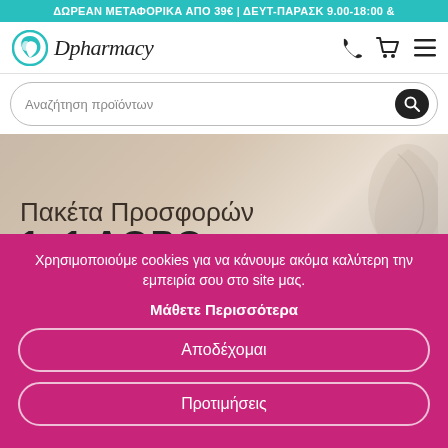ΔΩΡΕΑΝ ΜΕΤΑΦΟΡΙΚΑ ΑΠΟ 39€ | ΔΕΥΤ-ΠΑΡΑΣΚ 9.00-18:00 &
[Figure (logo): Dpharmacy logo with teal circle and script text]
Αναζήτηση προϊόντων
[Figure (photo): Promotional banner showing Πακέτα Προσφορών 1+1 ΔΩΡΟ offer on beige/cream background with decorative leaf motif]
Χρησιμοποιούμε cookies για να κάνουμε ακόμα καλύτερη την εμπειρία σου στο site μας.
Μάθετε Περισσότερα
Αποδέχομαι
Προτιμήσεις